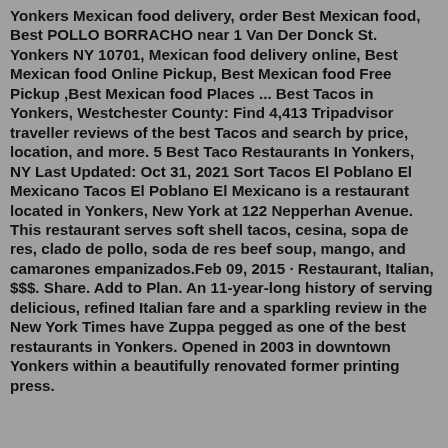Yonkers Mexican food delivery, order Best Mexican food, Best POLLO BORRACHO near 1 Van Der Donck St. Yonkers NY 10701, Mexican food delivery online, Best Mexican food Online Pickup, Best Mexican food Free Pickup ,Best Mexican food Places ... Best Tacos in Yonkers, Westchester County: Find 4,413 Tripadvisor traveller reviews of the best Tacos and search by price, location, and more. 5 Best Taco Restaurants In Yonkers, NY Last Updated: Oct 31, 2021 Sort Tacos El Poblano El Mexicano Tacos El Poblano El Mexicano is a restaurant located in Yonkers, New York at 122 Nepperhan Avenue. This restaurant serves soft shell tacos, cesina, sopa de res, clado de pollo, soda de res beef soup, mango, and camarones empanizados.Feb 09, 2015 · Restaurant, Italian, $$$. Share. Add to Plan. An 11-year-long history of serving delicious, refined Italian fare and a sparkling review in the New York Times have Zuppa pegged as one of the best restaurants in Yonkers. Opened in 2003 in downtown Yonkers within a beautifully renovated former printing press.